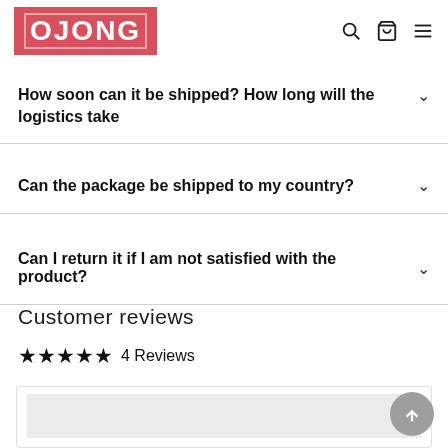OJONG
How soon can it be shipped? How long will the logistics take
Can the package be shipped to my country?
Can I return it if I am not satisfied with the product?
Customer reviews
★★★★★  4 Reviews